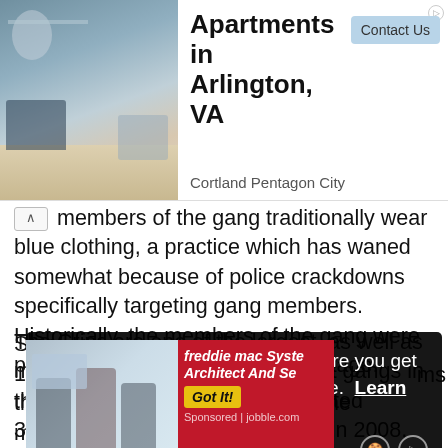[Figure (photo): Advertisement banner for Apartments in Arlington VA - Cortland Pentagon City, with apartment interior photo, Contact Us button]
members of the gang traditionally wear blue clothing, a practice which has waned somewhat because of police crackdowns specifically targeting gang members. Historically, the members of the gang were primarily of African-American heritage.
The Crips are one of the largest, as well as most violent associations of street gangs in the United States. With an estimated 30,000 or even 35,000 members in 2008, they were some with
[Figure (screenshot): Cookie consent overlay: 'This website uses cookies to ensure you get the best experience on our website. Learn more']
Star 196 they c reet gangs. Most of the members
[Figure (photo): Ad overlay showing Freddie Mac System Architect And Se... sponsored by jobble.com with Get It button]